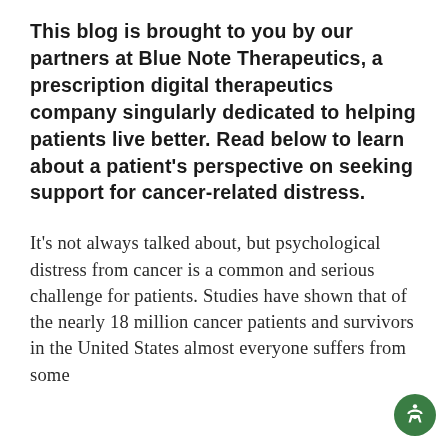This blog is brought to you by our partners at Blue Note Therapeutics, a prescription digital therapeutics company singularly dedicated to helping patients live better. Read below to learn about a patient's perspective on seeking support for cancer-related distress.
It's not always talked about, but psychological distress from cancer is a common and serious challenge for patients. Studies have shown that of the nearly 18 million cancer patients and survivors in the United States almost everyone suffers from some